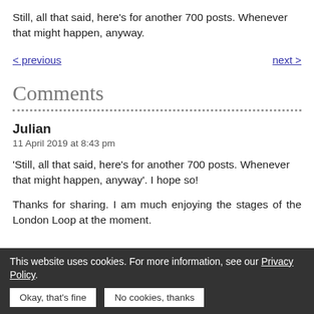Still, all that said, here’s for another 700 posts. Whenever that might happen, anyway.
< previous    next >
Comments
Julian
11 April 2019 at 8:43 pm
‘Still, all that said, here’s for another 700 posts. Whenever that might happen, anyway’. I hope so!
Thanks for sharing. I am much enjoying the stages of the London Loop at the moment.
Have your say
This website uses cookies. For more information, see our Privacy Policy.  Okay, that’s fine  No cookies, thanks